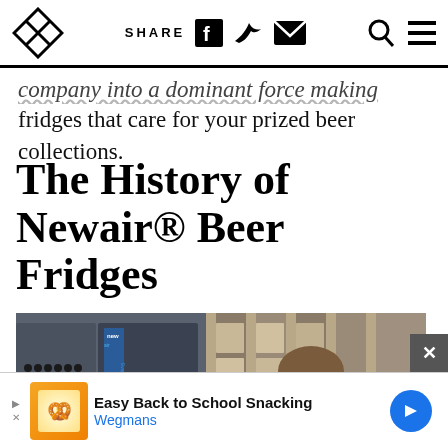SHARE [social icons] [search] [menu]
company into a dominant force making fridges that care for your prized beer collections.
The History of Newair® Beer Fridges
[Figure (photo): Man smiling in a warehouse with Newair evaporative air cooler product boxes visible]
Easy Back to School Snacking Wegmans